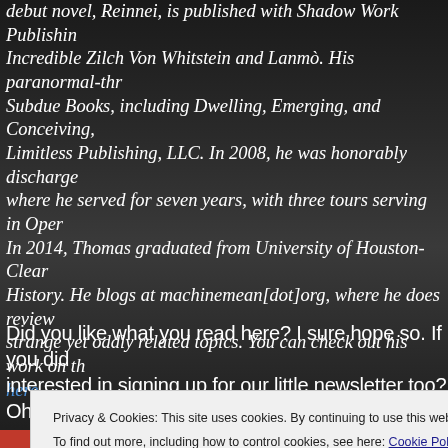debut novel, Reinnei, is published with Shadow Work Publishing. Incredible Zilch Von Whitstein and Lanmò. His paranormal-thr Subdue Books, including Dwelling, Emerging, and Conceiving, Limitless Publishing, LLC. In 2008, he was honorably discharge where he served for seven years, with three tours serving in Oper In 2014, Thomas graduated from University of Houston-Clear History. He blogs at machinemean[dot]org, where he does review strange yet oddly related topics. You can check out his work on th here.
Did you like what you read here? I sure hope so. If you did interested in signing up for our little newsletter too? Oh,
Privacy & Cookies: This site uses cookies. By continuing to use this website, you agree to their use. To find out more, including how to control cookies, see here: Cookie Policy
Close and accept